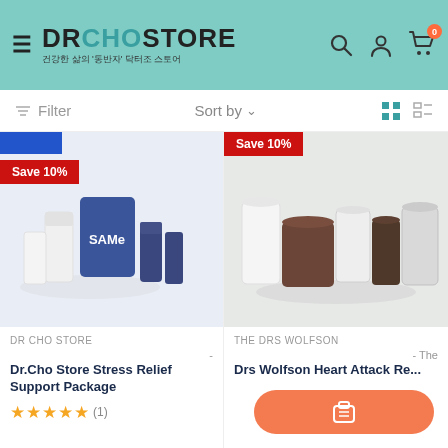[Figure (screenshot): DrChoStore website header with teal background, hamburger menu, logo, and icons]
Filter
Sort by
Save 10%
[Figure (photo): SAMe supplement bottles product image]
DR CHO STORE
-
Dr.Cho Store Stress Relief Support Package
Save 10%
[Figure (photo): Heart supplement bottles product image - Drs Wolfson]
THE DRS WOLFSON
- The
Drs Wolfson Heart Attack Re... Package